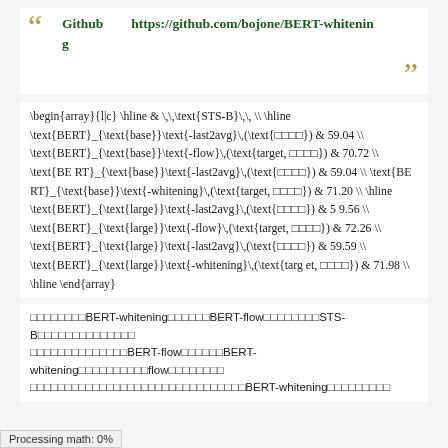Github　　https://github.com/bojone/BERT-whitening
□□□□□□□□BERT-whitening□□□□□□BERT-flow□□□□□□□□STS-B□□□□□□□□□□□□□□□□□□□□□□□□□□□BERT-flow□□□□□□BERT-whitening□□□□□□□□□□flow□□□□□□□□□□□□□□□□□□□□□□□□□□□□□□□□□□□□□□□□□□BERT-whitening□□□□□□□□□